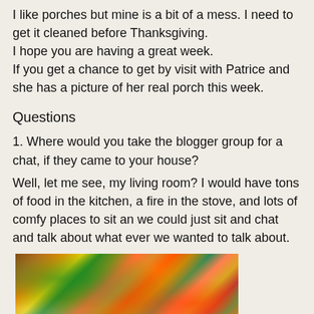I like porches but mine is a bit of a mess. I need to get it cleaned before Thanksgiving.
I hope you are having a great week.
If you get a chance to get by visit with Patrice and she has a picture of her real porch this week.
Questions
1. Where would you take the blogger group for a chat, if they came to your house?
Well, let me see, my living room? I would have tons of food in the kitchen, a fire in the stove, and lots of comfy places to sit an we could just sit and chat and talk about what ever we wanted to talk about.
[Figure (photo): Autumn leaves photo showing colorful fall foliage with red, orange, yellow and green leaves]